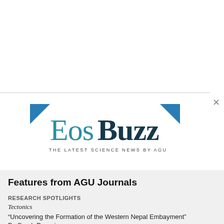[Figure (logo): EosBuzz logo — 'Eos' in teal serif and 'Buzz' in dark teal bold serif, with blue triangle decorations at top corners and tagline 'THE LATEST SCIENCE NEWS BY AGU' in small caps below]
Features from AGU Journals
RESEARCH SPOTLIGHTS
Tectonics
“Uncovering the Formation of the Western Nepal Embayment”
By Sarah Derouin
EDITORS' VOX